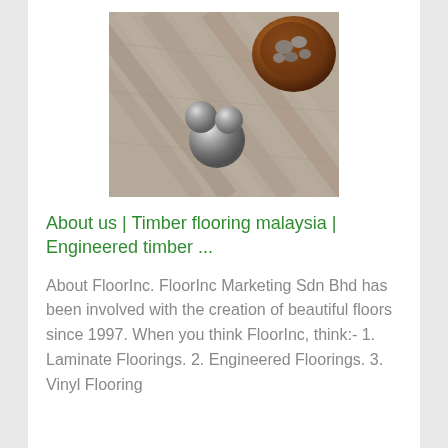[Figure (photo): Photo of a wood/timber floor with decorative silver metallic spheres and a brown ceramic/wooden bowl containing stones in the top-right corner]
About us | Timber flooring malaysia | Engineered timber ...
About FloorInc. FloorInc Marketing Sdn Bhd has been involved with the creation of beautiful floors since 1997. When you think FloorInc, think:- 1. Laminate Floorings. 2. Engineered Floorings. 3. Vinyl Flooring